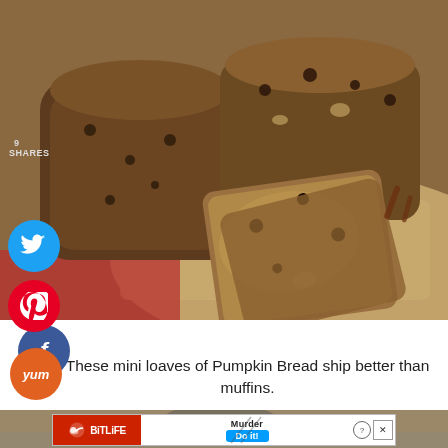[Figure (photo): Photo of pumpkin bread mini loaves sliced on a wooden cutting board with chocolate chips and walnuts, on a red cloth background]
9 SHARES
[Figure (infographic): Social sharing buttons: Facebook (blue circle with f), Twitter (cyan circle with bird icon), Pinterest (red circle with P and number 9), Yum (orange circle with Yum text)]
These mini loaves of Pumpkin Bread ship better than muffins.
[Figure (screenshot): BitLife advertisement banner: red section with BitLife logo and snake icon, white section with Murder text, Do it! blue button, and close/help icons]